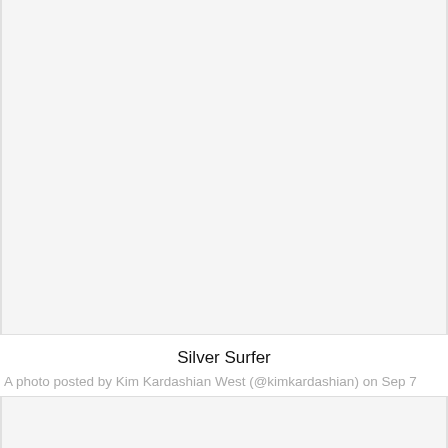[Figure (photo): Top image placeholder area with light gray background, appears to be a cropped photo embed from a social media post]
Silver Surfer
A photo posted by Kim Kardashian West (@kimkardashian) on Sep 7
[Figure (photo): Bottom image area with light gray background and Instagram camera icon visible at bottom center]